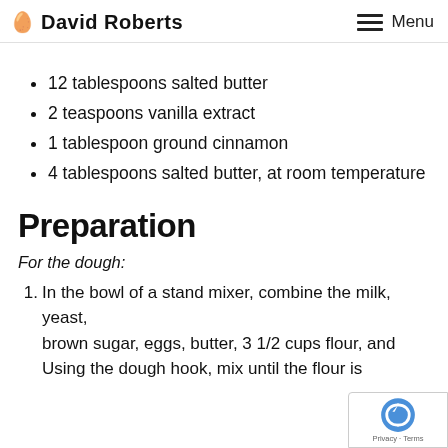David Roberts | Menu
[partial line cut off]
12 tablespoons salted butter
2 teaspoons vanilla extract
1 tablespoon ground cinnamon
4 tablespoons salted butter, at room temperature
Preparation
For the dough:
1. In the bowl of a stand mixer, combine the milk, yeast, brown sugar, eggs, butter, 3 1/2 cups flour, and Using the dough hook, mix until the flour is